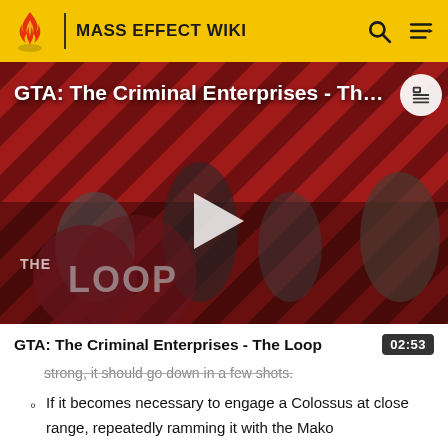MASS EFFECT WIKI
[Figure (screenshot): Video thumbnail for GTA: The Criminal Enterprises - The Loop, showing characters on a red diagonal striped background with a play button overlay and The Loop logo in the bottom left]
GTA: The Criminal Enterprises - The Loop
02:53
strong, it should go down in a few shots.
If it becomes necessary to engage a Colossus at close range, repeatedly ramming it with the Mako